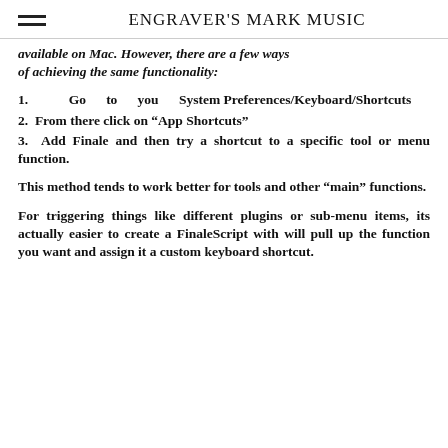ENGRAVER'S MARK MUSIC
available on Mac. However, there are a few ways of achieving the same functionality:
1.  Go to you System Preferences/Keyboard/Shortcuts
2.  From there click on “App Shortcuts”
3.  Add Finale and then try a shortcut to a specific tool or menu function.
This method tends to work better for tools and other “main” functions.
For triggering things like different plugins or sub-menu items, its actually easier to create a FinaleScript with will pull up the function you want and assign it a custom keyboard shortcut.